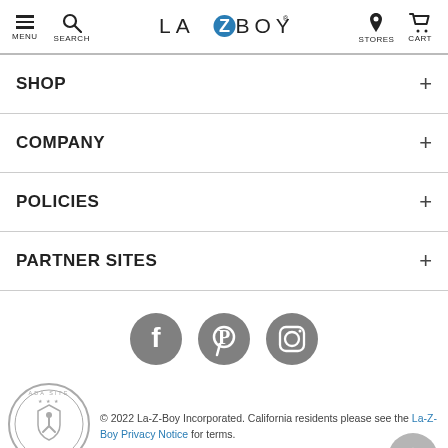MENU SEARCH LA-Z-BOY STORES CART
SHOP +
COMPANY +
POLICIES +
PARTNER SITES +
[Figure (illustration): Social media icons: Facebook, Pinterest, Instagram — gray circles with white icons]
[Figure (logo): ADA Site Compliance seal — circular gray badge]
© 2022 La-Z-Boy Incorporated. California residents please see the La-Z-Boy Privacy Notice for terms.